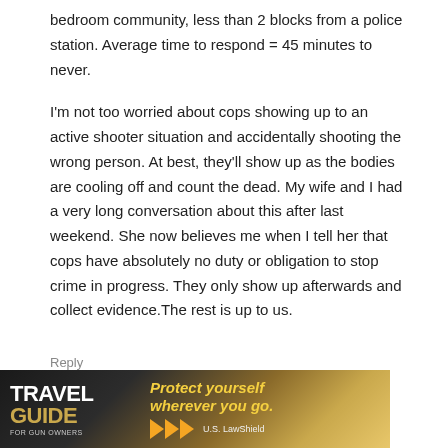bedroom community, less than 2 blocks from a police station. Average time to respond = 45 minutes to never.
I'm not too worried about cops showing up to an active shooter situation and accidentally shooting the wrong person. At best, they'll show up as the bodies are cooling off and count the dead. My wife and I had a very long conversation about this after last weekend. She now believes me when I tell her that cops have absolutely no duty or obligation to stop crime in progress. They only show up afterwards and collect evidence.The rest is up to us.
Reply
[Figure (infographic): Travel Guide For Gun Owners advertisement banner. Dark background with golden hues. Left side shows 'TRAVEL GUIDE FOR GUN OWNERS' text. Right side shows tagline 'Protect yourself wherever you go.' with orange play-button arrows and US LawShield logo.]